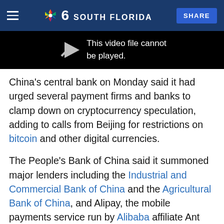NBC 6 South Florida
[Figure (screenshot): Video player showing error message: This video file cannot be played]
China's central bank on Monday said it had urged several payment firms and banks to clamp down on cryptocurrency speculation, adding to calls from Beijing for restrictions on bitcoin and other digital currencies.
The People's Bank of China said it summoned major lenders including the Industrial and Commercial Bank of China and the Agricultural Bank of China, and Alipay, the mobile payments service run by Alibaba affiliate Ant Group, to tell them they must not provide crypto-related services.
Stay informed about local news and weather during the hurricane